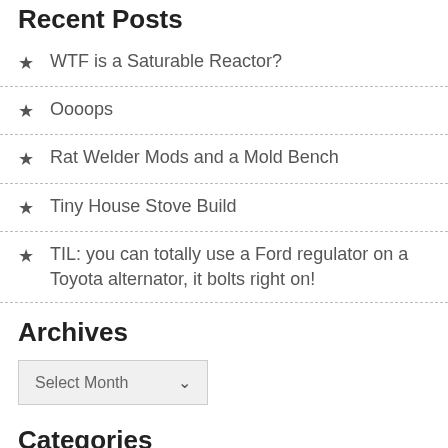Recent Posts
WTF is a Saturable Reactor?
Oooops
Rat Welder Mods and a Mold Bench
Tiny House Stove Build
TIL: you can totally use a Ford regulator on a Toyota alternator, it bolts right on!
Archives
Select Month
Categories
Art